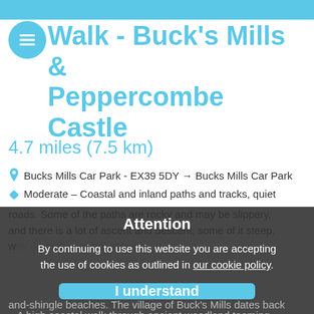Walk - Buck's Mills & Peppercombe Castle
4.7 miles (7.5 km)
Bucks Mills Car Park - EX39 5DY → Bucks Mills Car Park
Moderate – Coastal and inland paths and tracks, quiet roads. Some of the paths are rocky and may be slippery, and there is a lot of ascent and descent, some of it steep, w...
Attention
By continuing to use this website you are accepting the use of cookies as outlined in our cookie policy.
I understand
A high coastal walk through ancient woodland teeming with wildlife, w... views through the trees and o... o remote sand-and-shingle beaches. The village of Buck's Mills dates back...